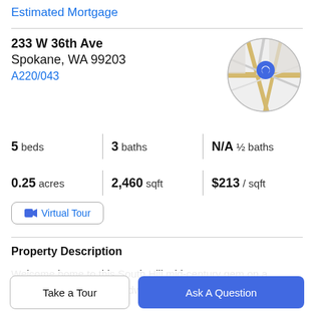Estimated Mortgage
233 W 36th Ave
Spokane, WA 99203
A220/043
[Figure (map): Circular map thumbnail showing street map with a blue location pin marker in center]
5 beds | 3 baths | N/A ½ baths | 0.25 acres | 2,460 sqft | $213 / sqft
Virtual Tour
Property Description
Welcome home to this South Hill mid-century gem on a quarter acre! Original hardwoods greet you on the main
Take a Tour
Ask A Question